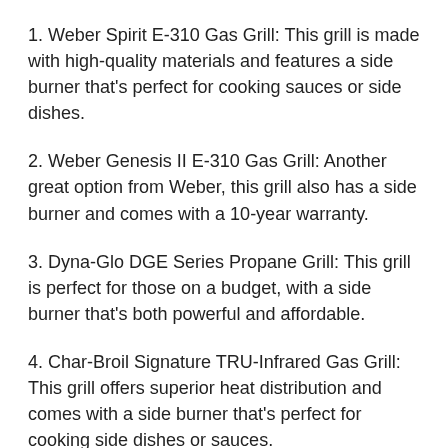1. Weber Spirit E-310 Gas Grill: This grill is made with high-quality materials and features a side burner that's perfect for cooking sauces or side dishes.
2. Weber Genesis II E-310 Gas Grill: Another great option from Weber, this grill also has a side burner and comes with a 10-year warranty.
3. Dyna-Glo DGE Series Propane Grill: This grill is perfect for those on a budget, with a side burner that's both powerful and affordable.
4. Char-Broil Signature TRU-Infrared Gas Grill: This grill offers superior heat distribution and comes with a side burner that's perfect for cooking side dishes or sauces.